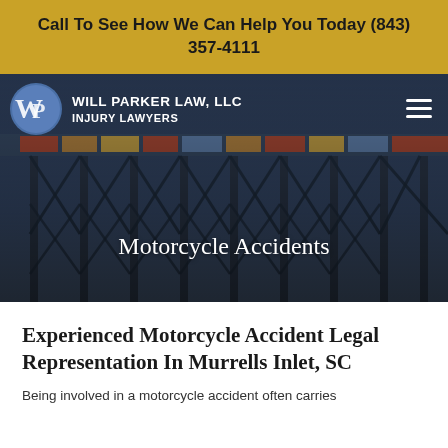Call To See How We Can Help You Today (843) 357-4111
[Figure (logo): Will Parker Law, LLC Injury Lawyers logo with WP monogram in a blue circle, white text on dark hero background with bridge/trestle image]
Motorcycle Accidents
Experienced Motorcycle Accident Legal Representation In Murrells Inlet, SC
Being involved in a motorcycle accident often carries